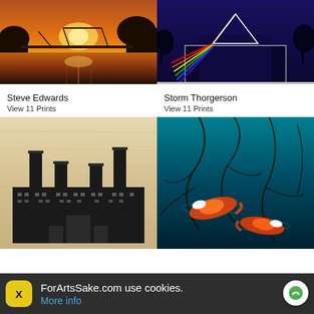[Figure (photo): Sunset over a bridge reflected in water, warm orange and red sky]
[Figure (photo): Pink Floyd Dark Side of the Moon album artwork style image with prism rainbow on blue background building]
Steve Edwards
View 11 Prints
Storm Thorgerson
View 11 Prints
[Figure (illustration): Black and white woodcut-style illustration of Battersea Power Station on light wood grain background]
[Figure (photo): Koi fish swimming in turquoise blue water with dark tree branch reflections]
ForArtsSake.com use cookies. More info